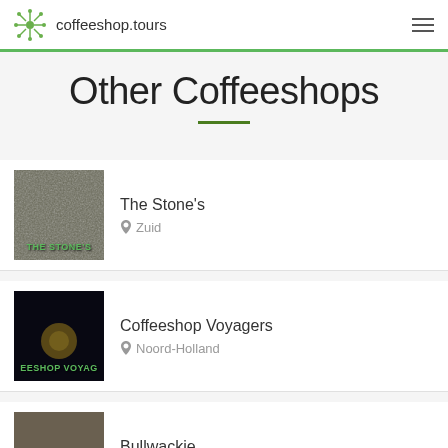coffeeshop.tours
Other Coffeeshops
The Stone's — Zuid
Coffeeshop Voyagers — Noord-Holland
Bullwackie — West